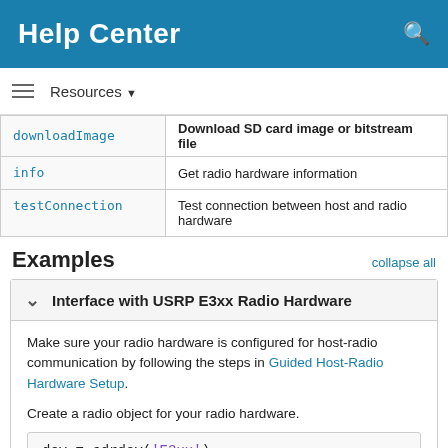Help Center
| Function | Description |
| --- | --- |
| downloadImage | Download SD card image or bitstream file |
| info | Get radio hardware information |
| testConnection | Test connection between host and radio hardware |
Examples
Interface with USRP E3xx Radio Hardware
Make sure your radio hardware is configured for host-radio communication by following the steps in Guided Host-Radio Hardware Setup.
Create a radio object for your radio hardware.
dev = sdrdev('E3xx')
dev =